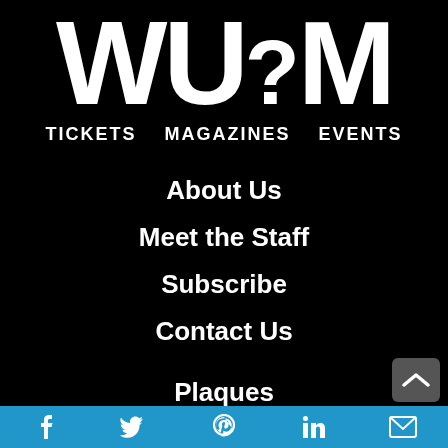WU?M
TICKETS   MAGAZINES   EVENTS
About Us
Meet the Staff
Subscribe
Contact Us
Plaques
Careers
Promotions
Social media icons: Facebook, Twitter, Pinterest, LinkedIn, Email